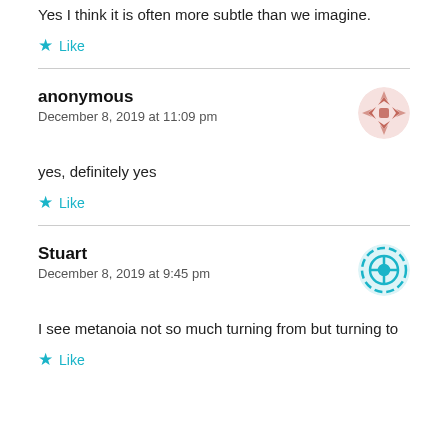Yes I think it is often more subtle than we imagine.
Like
anonymous
December 8, 2019 at 11:09 pm
yes, definitely yes
Like
Stuart
December 8, 2019 at 9:45 pm
I see metanoia not so much turning from but turning to
Like